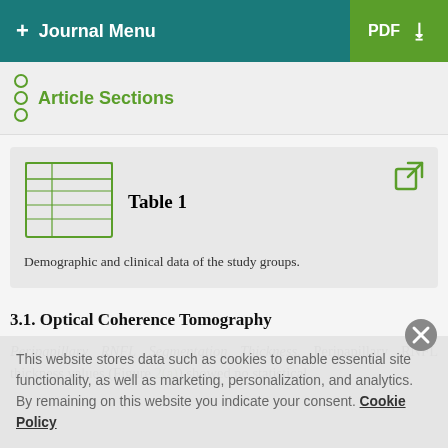+ Journal Menu | PDF
Article Sections
Table 1
Demographic and clinical data of the study groups.
3.1. Optical Coherence Tomography
Peripapillary RNFL Segmentation Thickness. Peripapillary RNFL thickness values (Figure 2(a)) showed no statistical
This website stores data such as cookies to enable essential site functionality, as well as marketing, personalization, and analytics. By remaining on this website you indicate your consent. Cookie Policy